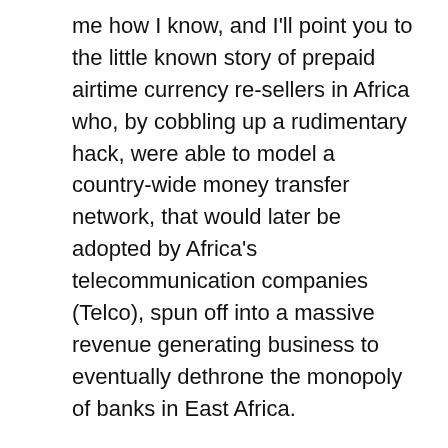me how I know, and I'll point you to the little known story of prepaid airtime currency re-sellers in Africa who, by cobbling up a rudimentary hack, were able to model a country-wide money transfer network, that would later be adopted by Africa's telecommunication companies (Telco), spun off into a massive revenue generating business to eventually dethrone the monopoly of banks in East Africa.
But the real story is neither about airtime, nor Telcos. What it is really about are the lessons we can draw upon Africa's informal economy on how to approach innovation in Africa.
This is a story of how the prepaid airtime re-